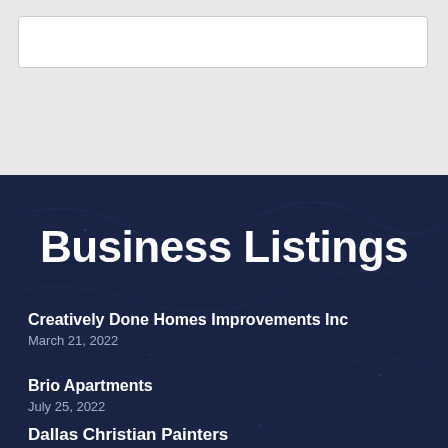[Figure (screenshot): White box element on light gray background, top section of a webpage]
Business Listings
Creatively Done Homes Improvements Inc
March 21, 2022
Brio Apartments
July 25, 2022
Dallas Christian Painters